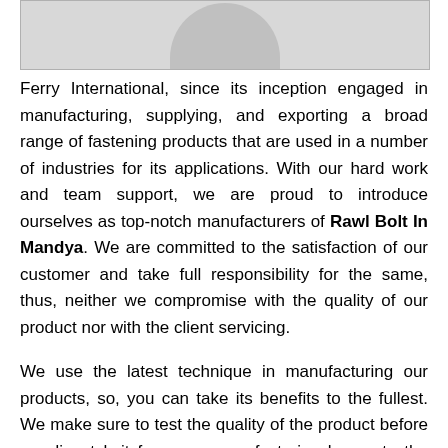[Figure (photo): Partial image at top of page, mostly cropped, showing a grey/white circular shape against a light background, appears to be a product photo.]
Ferry International, since its inception engaged in manufacturing, supplying, and exporting a broad range of fastening products that are used in a number of industries for its applications. With our hard work and team support, we are proud to introduce ourselves as top-notch manufacturers of Rawl Bolt In Mandya. We are committed to the satisfaction of our customer and take full responsibility for the same, thus, neither we compromise with the quality of our product nor with the client servicing.
We use the latest technique in manufacturing our products, so, you can take its benefits to the fullest. We make sure to test the quality of the product before we dispatch it from our manufacturing house to the customer. This may help us to gain the trust of many, which has become our customer. Being...